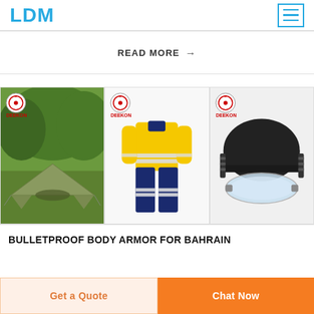LDM
READ MORE →
[Figure (photo): Camouflage military tent set up on grass with trees in background, Deekon branded]
[Figure (photo): Yellow and navy blue hi-visibility coverall/work suit with reflective stripes, Deekon branded]
[Figure (photo): Black tactical military fast helmet with clear visor/goggles, Deekon branded]
BULLETPROOF BODY ARMOR FOR BAHRAIN
Get a Quote
Chat Now